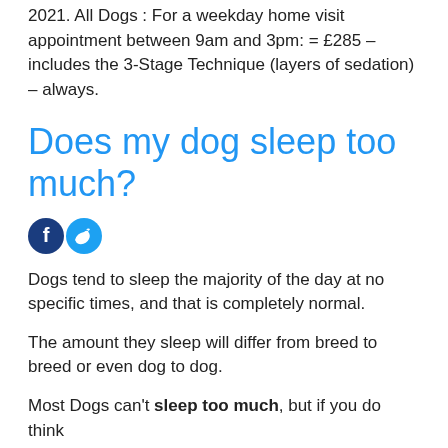2021. All Dogs : For a weekday home visit appointment between 9am and 3pm: = £285 – includes the 3-Stage Technique (layers of sedation) – always.
Does my dog sleep too much?
[Figure (other): Social media share icons: Facebook (dark blue circle with 'f') and Twitter (light blue circle with bird logo)]
Dogs tend to sleep the majority of the day at no specific times, and that is completely normal.
The amount they sleep will differ from breed to breed or even dog to dog.
Most Dogs can't sleep too much, but if you do think